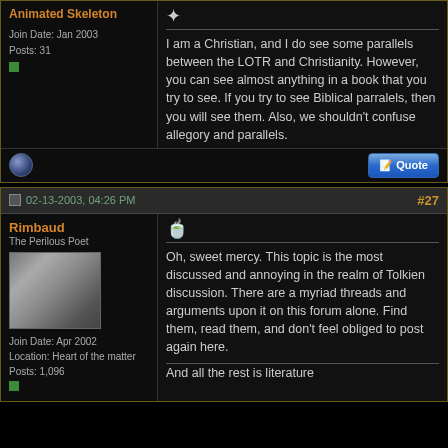Animated Skeleton
Join Date: Jan 2003
Posts: 31
I am a Christian, and I do see some parallels between the LOTR and Christianity. However, you can see almost anything in a book that you try to see. If you try to see Biblical parralels, then you will see them. Also, we shouldn't confuse allegory and parallels.
02-13-2003, 04:26 PM
#27
Rimbaud
The Perilous Poet
Join Date: Apr 2002
Location: Heart of the matter
Posts: 1,096
Oh, sweet mercy. This topic is the most discussed and annoying in the realm of Tolkien discussion. There are a myriad threads and arguments upon it on this forum alone. Find them, read them, and don't feel obliged to post again here.
And all the rest is literature